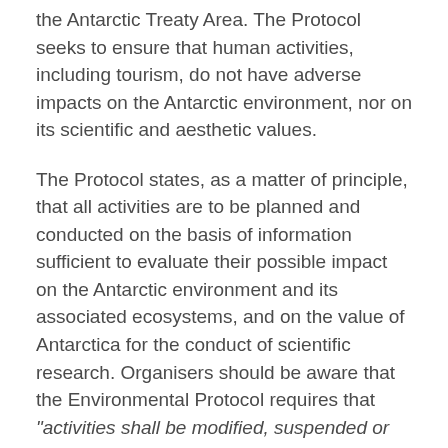the Antarctic Treaty Area. The Protocol seeks to ensure that human activities, including tourism, do not have adverse impacts on the Antarctic environment, nor on its scientific and aesthetic values.
The Protocol states, as a matter of principle, that all activities are to be planned and conducted on the basis of information sufficient to evaluate their possible impact on the Antarctic environment and its associated ecosystems, and on the value of Antarctica for the conduct of scientific research. Organisers should be aware that the Environmental Protocol requires that "activities shall be modified, suspended or cancelled if they result in or threaten to result in impacts upon the Antarctic environment or dependent or associated ecosystems."
Those responsible for organising and conducting tourism and non-governmental activities must comply fully with national laws and regulations which implement the